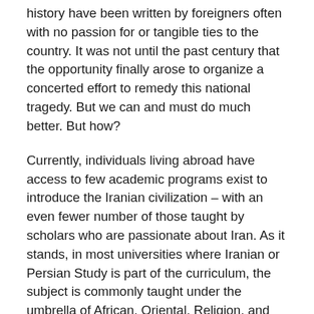history have been written by foreigners often with no passion for or tangible ties to the country. It was not until the past century that the opportunity finally arose to organize a concerted effort to remedy this national tragedy. But we can and must do much better. But how?
Currently, individuals living abroad have access to few academic programs exist to introduce the Iranian civilization – with an even fewer number of those taught by scholars who are passionate about Iran. As it stands, in most universities where Iranian or Persian Study is part of the curriculum, the subject is commonly taught under the umbrella of African, Oriental, Religion, and Middle Eastern studies while Greek or Roman Studies benefit from their own individual departments. This is mainly due to a lack of funding which limits the expansion of Iran-related programs. How can we support their growth?
With proper contribution from concerned individuals and personal involvement by academics across the world, universities will be able to fund and design Iranian or Persian studies on BA, MA and PhD levels and offer incentives for prospective students through scholarships. Such a process